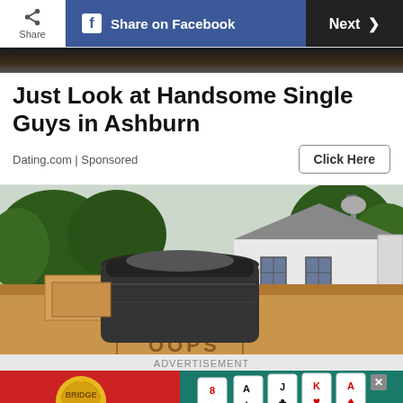[Figure (screenshot): Top navigation bar with Share button, Facebook Share button, and Next button]
[Figure (photo): Dark image strip showing a partial face in shadow]
Just Look at Handsome Single Guys in Ashburn
Dating.com | Sponsored
Click Here
[Figure (photo): Outdoor photo showing trash bins and cardboard boxes in front of a suburban house with trees and a lamp post]
ADVERTISEMENT
[Figure (photo): Advertisement banner for Bridge card game app showing a gold seal logo and playing cards]